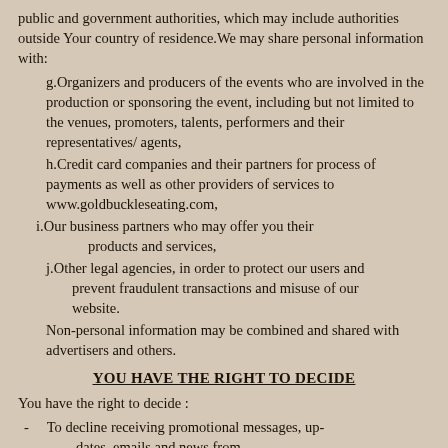public and government authorities, which may include authorities outside Your country of residence. We may share personal information with:
g. Organizers and producers of the events who are involved in the production or sponsoring the event, including but not limited to the venues, promoters, talents, performers and their representatives/ agents,
h. Credit card companies and their partners for process of payments as well as other providers of services to www.goldbuckleseating.com,
i. Our business partners who may offer you their products and services,
j. Other legal agencies, in order to protect our users and prevent fraudulent transactions and misuse of our website.
Non-personal information may be combined and shared with advertisers and others.
YOU HAVE THE RIGHT TO DECIDE
You have the right to decide :
- To decline receiving promotional messages, updates, emails and news from
www.goldbuckleseating.com by sending us an